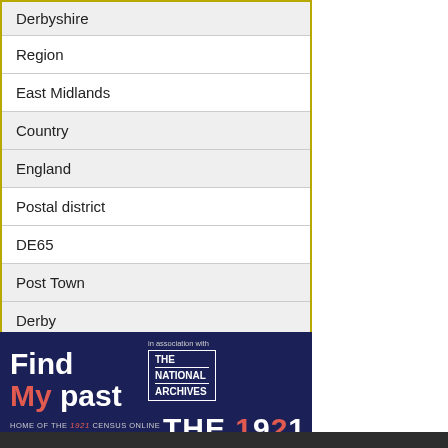| Derbyshire |
| Region |
| East Midlands |
| Country |
| England |
| Postal district |
| DE65 |
| Post Town |
| Derby |
[Figure (illustration): FindMyPast advertisement banner with dark navy background. Shows 'Find My past' logo with 'My' in red/salmon color. Text reads 'in association with THE NATIONAL ARCHIVES' in a box outline. Bottom shows 'HOME OF THE 1921 CENSUS ONLINE' with 1921 in red. Large text 'THE 1921' appears at bottom right.]